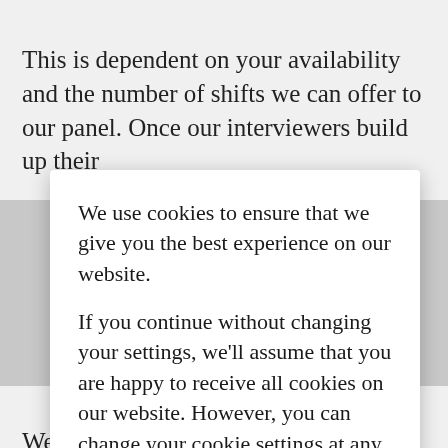This is dependent on your availability and the number of shifts we can offer to our panel. Once our interviewers build up their
We use cookies to ensure that we give you the best experience on our website.

If you continue without changing your settings, we'll assume that you are happy to receive all cookies on our website. However, you can change your cookie settings at any time.
Continue
We have a regular Catibus survey that runs